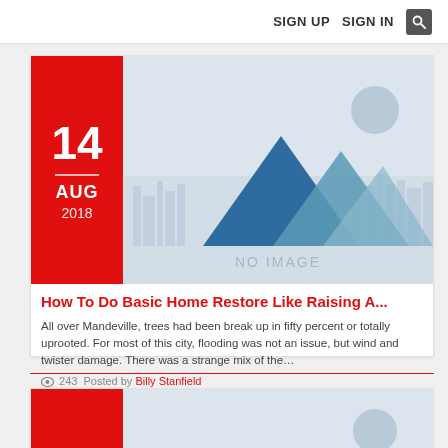SIGN UP   SIGN IN   🔍
[Figure (illustration): No image placeholder with mountain silhouettes and city skyline on light blue-grey background. Text reads NO IMAGE.]
How To Do Basic Home Restore Like Raising A...
All over Mandeville, trees had been break up in fifty percent or totally uprooted. For most of this city, flooding was not an issue, but wind and twister damage. There was a strange mix of the…
👁 243   Posted by Billy Stanfield
[Figure (illustration): Second no image placeholder with mountain silhouettes and city skyline on light blue-grey background, partially visible.]